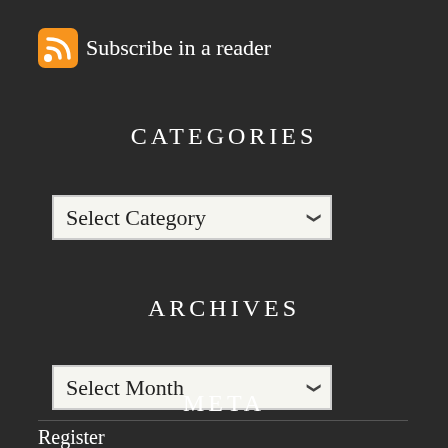[Figure (logo): RSS feed orange icon with white signal waves, followed by text 'Subscribe in a reader']
CATEGORIES
[Figure (screenshot): Dropdown select box with label 'Select Category' and a chevron arrow]
ARCHIVES
[Figure (screenshot): Dropdown select box with label 'Select Month' and a chevron arrow]
META
Register